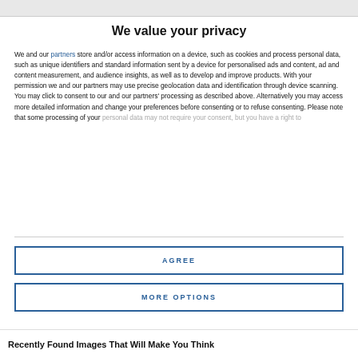We value your privacy
We and our partners store and/or access information on a device, such as cookies and process personal data, such as unique identifiers and standard information sent by a device for personalised ads and content, ad and content measurement, and audience insights, as well as to develop and improve products. With your permission we and our partners may use precise geolocation data and identification through device scanning. You may click to consent to our and our partners' processing as described above. Alternatively you may access more detailed information and change your preferences before consenting or to refuse consenting. Please note that some processing of your personal data may not require your consent, but you have a right to
AGREE
MORE OPTIONS
Recently Found Images That Will Make You Think